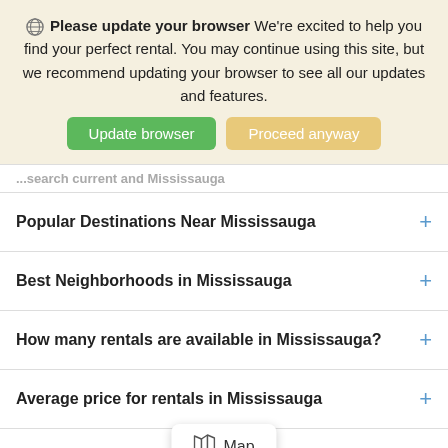[Figure (screenshot): Browser update banner with globe icon, bold text 'Please update your browser', message about finding perfect rental, and two buttons: 'Update browser' (green) and 'Proceed anyway' (tan/yellow)]
...search current and Mississauga (partial/cut off)
Popular Destinations Near Mississauga +
Best Neighborhoods in Mississauga +
How many rentals are available in Mississauga? +
Average price for rentals in Mississauga +
Most popular type of vacation rental in Mississauga +
[Figure (other): Map tooltip overlay showing map icon and text 'Map']